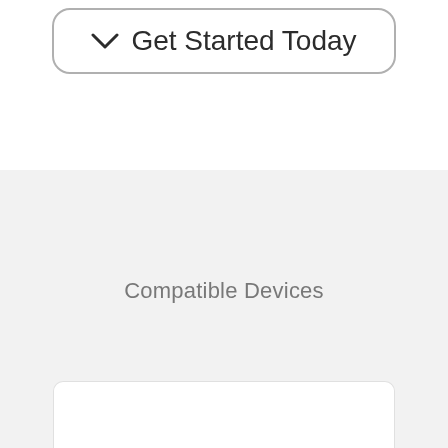[Figure (other): A rounded rectangle button outline containing a downward chevron icon and the text 'Get Started Today']
Compatible Devices
[Figure (other): A white rounded card box visible at the bottom of the gray section, cropped at the page bottom]